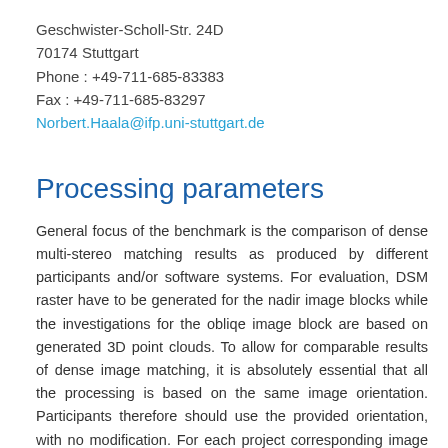Geschwister-Scholl-Str. 24D
70174 Stuttgart
Phone : +49-711-685-83383
Fax : +49-711-685-83297
Norbert.Haala@ifp.uni-stuttgart.de
Processing parameters
General focus of the benchmark is the comparison of dense multi-stereo matching results as produced by different participants and/or software systems. For evaluation, DSM raster have to be generated for the nadir image blocks while the investigations for the obliqe image block are based on generated 3D point clouds. To allow for comparable results of dense image matching, it is absolutely essential that all the processing is based on the same image orientation. Participants therefore should use the provided orientation, with no modification. For each project corresponding image and ground coordinates are provided on demand so the proper use of the